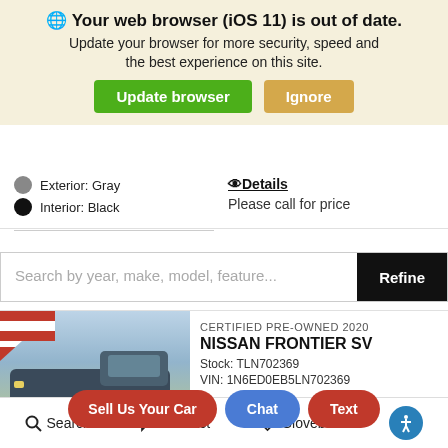🌐 Your web browser (iOS 11) is out of date. Update your browser for more security, speed and the best experience on this site.
Update browser | Ignore
Exterior: Gray
Interior: Black
©Details
Please call for price
Search by year, make, model, feature...
Refine
[Figure (photo): Photo of a gray Nissan Frontier truck at a dealership lot]
CERTIFIED PRE-OWNED 2020 NISSAN FRONTIER SV Stock: TLN702369 VIN: 1N6ED0EB5LN702369
Sell Us Your Car | Chat | Text
Search | Contact | Glovebox | Accessibility